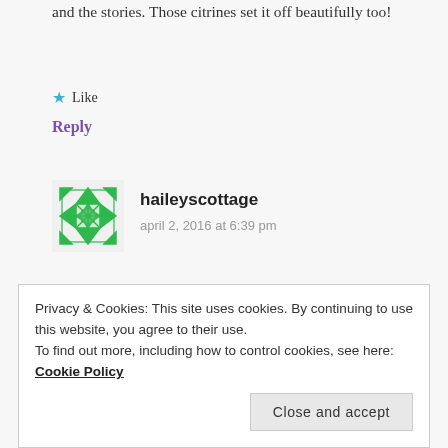and the stories. Those citrines set it off beautifully too!
★ Like
Reply
[Figure (illustration): Green geometric quilt-pattern avatar icon for user haileyscottage]
haileyscottage
april 2, 2016 at 6:39 pm
Your line is cool and edgy – and your beading is
Privacy & Cookies: This site uses cookies. By continuing to use this website, you agree to their use.
To find out more, including how to control cookies, see here: Cookie Policy
Close and accept